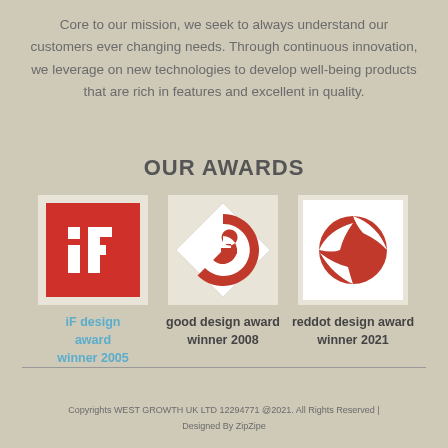Core to our mission, we seek to always understand our customers ever changing needs. Through continuous innovation, we leverage on new technologies to develop well-being products that are rich in features and excellent in quality.
OUR AWARDS
[Figure (logo): iF design award logo — white letters 'iF' on red square background]
iF design award winner 2005
[Figure (logo): Good design award logo — red diamond/G shape on white background]
good design award winner 2008
[Figure (logo): Red dot design award logo — red globe with white stripe on white background]
reddot design award winner 2021
Copyrights WEST GROWTH UK LTD 12294771 @2021. All Rights Reserved | Designed By ZipZipe